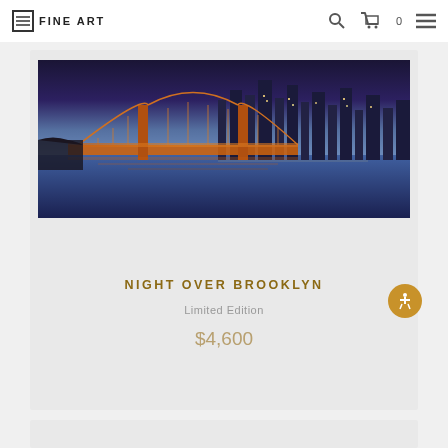FINE ART
[Figure (photo): Night panoramic photo of Brooklyn Bridge and Manhattan skyline at dusk, with warm orange bridge lights reflecting on blue water, purple-blue sky]
NIGHT OVER BROOKLYN
Limited Edition
$4,600